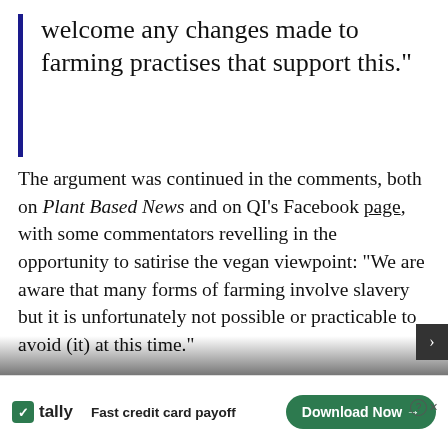welcome any changes made to farming practises that support this.”
The argument was continued in the comments, both on Plant Based News and on QI’s Facebook page, with some commentators revelling in the opportunity to satirise the vegan viewpoint: “We are aware that many forms of farming involve slavery but it is unfortunately not possible or practicable to avoid (it) at this time.”
Others were more understanding: “Where bees are used in that way it is wrong to do so, but at the present...
[Figure (other): Tally app advertisement banner: 'Fast credit card payoff' with green Download Now button]